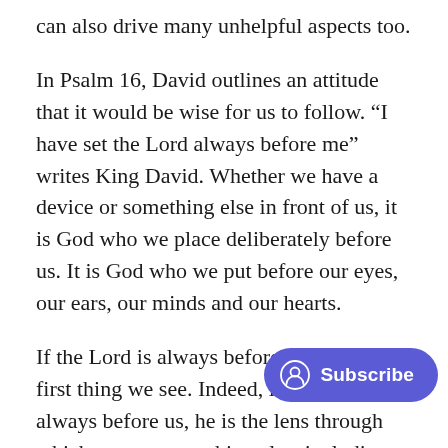can also drive many unhelpful aspects too.
In Psalm 16, David outlines an attitude that it would be wise for us to follow. “I have set the Lord always before me” writes King David. Whether we have a device or something else in front of us, it is God who we place deliberately before us. It is God who we put before our eyes, our ears, our minds and our hearts.
If the Lord is always before us, he is the first thing we see. Indeed, if the Lord is always before us, he is the lens through which we see everything else, including what comes out of our electronic devices. We read the news through the perspective of our… watch entertainment through the eye… Saviour. We set the Lord before us before we set a